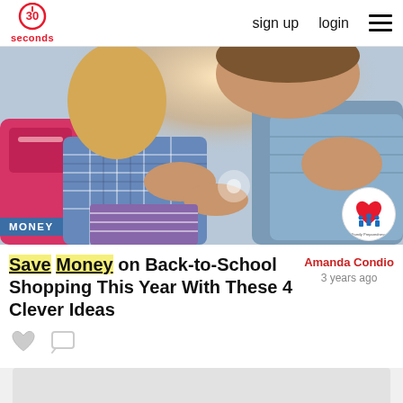30seconds | sign up | login
[Figure (photo): A mother hugging a child with a pink backpack, back-to-school theme. Child wearing plaid shirt, mother in denim jacket.]
Save Money on Back-to-School Shopping This Year With These 4 Clever Ideas
Amanda Condio
3 years ago
[Figure (infographic): Heart icon with family figures (Family Preparedness logo)]